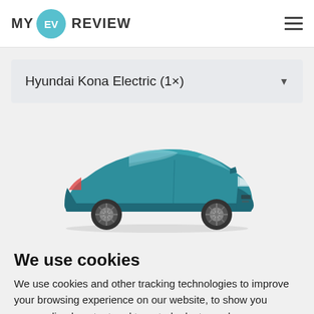MY EV REVIEW
Hyundai Kona Electric (1×)
[Figure (photo): Side profile photo of a teal/blue Hyundai Kona Electric SUV on a light grey background]
We use cookies
We use cookies and other tracking technologies to improve your browsing experience on our website, to show you personalized content and targeted ads, to analyze our website traffic, and to